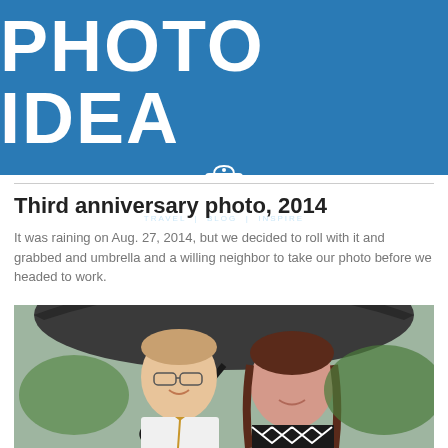[Figure (illustration): Blue banner header with large white bold text 'PHOTO IDEA' and Postcard Jar logo below with tagline 'TRAVEL | BLOG | INSPIRE']
Third anniversary photo, 2014
It was raining on Aug. 27, 2014, but we decided to roll with it and grabbed and umbrella and a willing neighbor to take our photo before we headed to work.
[Figure (photo): A smiling couple standing under an umbrella. The man on the left wears a white dress shirt and gold tie, holding the umbrella handle. The woman on the right wears a black and white chevron patterned top. Background shows greenery.]